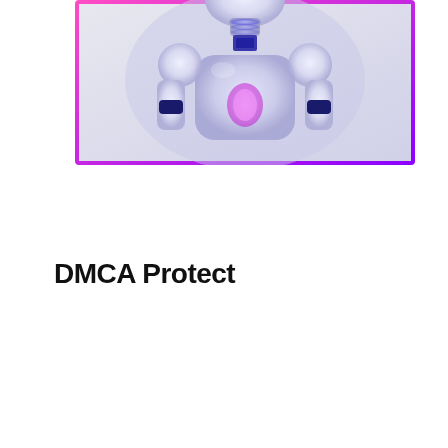[Figure (illustration): A 3D rendered robot with white and purple/blue coloring, glowing pink/purple chest piece and neck, against a light gray background. The image is framed with a pink-to-purple gradient border.]
DMCA Protect